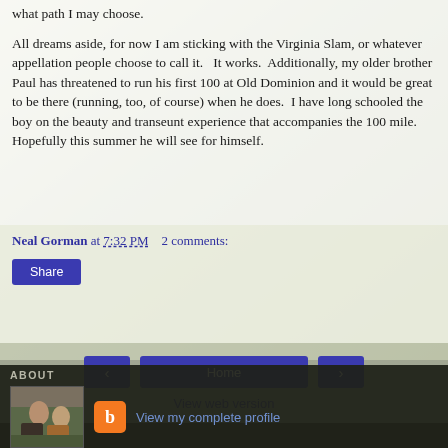what path I may choose.

All dreams aside, for now I am sticking with the Virginia Slam, or whatever appellation people choose to call it.  It works.  Additionally, my older brother Paul has threatened to run his first 100 at Old Dominion and it would be great to be there (running, too, of course) when he does.  I have long schooled the boy on the beauty and transeunt experience that accompanies the 100 mile.  Hopefully this summer he will see for himself.
Neal Gorman at 7:32 PM   2 comments:
Share
Home
View web version
ABOUT
[Figure (photo): Profile photo thumbnail of two people sitting outdoors]
View my complete profile